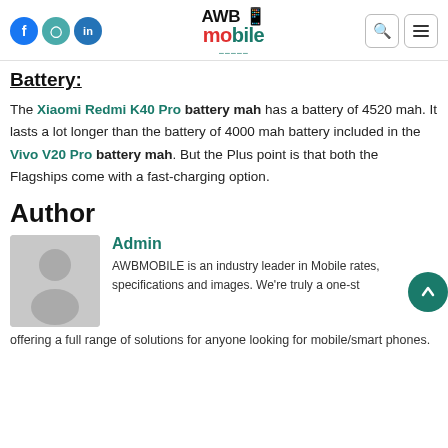AWB Mobile — header with social icons (Facebook, Instagram, LinkedIn), AWBmobile logo, search and menu buttons
Battery:
The Xiaomi Redmi K40 Pro battery mah has a battery of 4520 mah. It lasts a lot longer than the battery of 4000 mah battery included in the Vivo V20 Pro battery mah. But the Plus point is that both the Flagships come with a fast-charging option.
Author
[Figure (illustration): Gray placeholder avatar icon showing a person silhouette]
Admin
AWBMOBILE is an industry leader in Mobile rates, specifications and images. We're truly a one-stop shop offering a full range of solutions for anyone looking for mobile/smart phones.